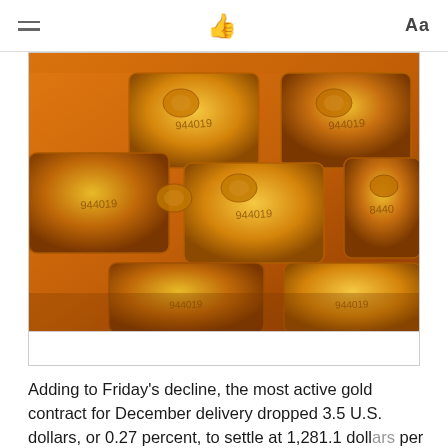≡  👍  Aa
[Figure (photo): Close-up photograph of multiple gold bars/ingots stacked together with embossed serial numbers visible on their surfaces, shown in golden-orange tones.]
Adding to Friday's decline, the most active gold contract for December delivery dropped 3.5 U.S. dollars, or 0.27 percent, to settle at 1,281.1 dollars per ounce.